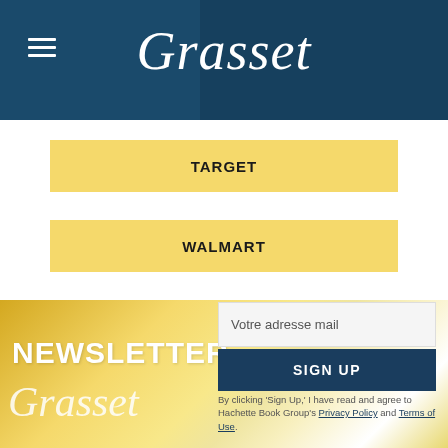Grasset
TARGET
WALMART
NEWSLETTER Grasset
Votre adresse mail
SIGN UP
By clicking 'Sign Up,' I acknowledge that I have read and agree to Hachette Book Group's Privacy Policy and Terms of Use.